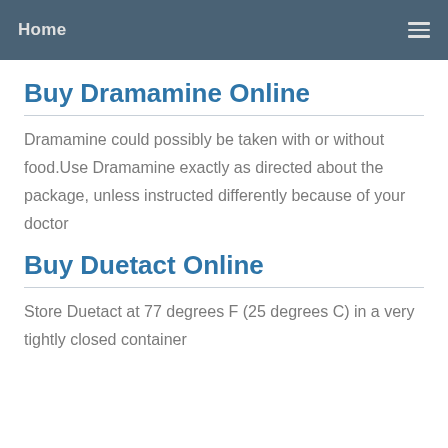Home
Buy Dramamine Online
Dramamine could possibly be taken with or without food.Use Dramamine exactly as directed about the package, unless instructed differently because of your doctor
Buy Duetact Online
Store Duetact at 77 degrees F (25 degrees C) in a very tightly closed container